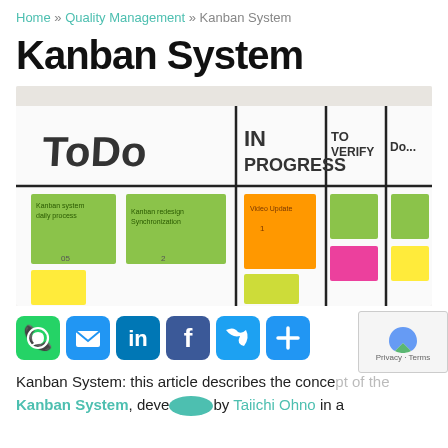Home » Quality Management » Kanban System
Kanban System
[Figure (photo): A Kanban board on a whiteboard with sticky notes in columns: TODO, IN PROGRESS, TO VERIFY, and partially visible DONE column]
[Figure (infographic): Social sharing icons: WhatsApp, Email, LinkedIn, Facebook, Twitter, Add/Share]
Kanban System: this article describes the concept of the Kanban System, developed by Taiichi Ohno in a